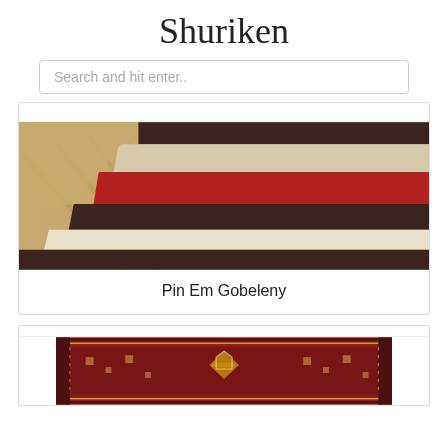Shuriken
Search and hit enter..
[Figure (photo): Close-up photo of a shaggy striped rug with dark brown, red, cream, and white horizontal stripes on a wooden floor background.]
Pin Em Gobeleny
[Figure (photo): Photo of a traditional Persian/Turkish red rug with intricate geometric patterns and medallion design.]